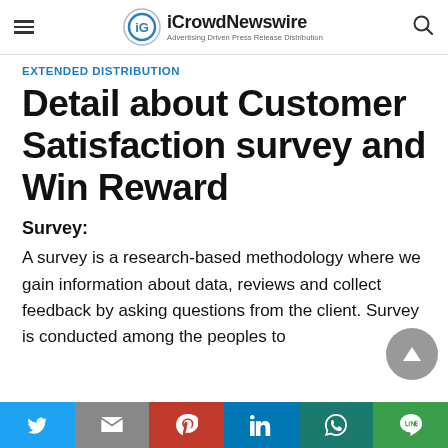iCrowdNewswire — Advertising Driven Press Release Distribution
EXTENDED DISTRIBUTION
Detail about Customer Satisfaction survey and Win Reward
Survey:
A survey is a research-based methodology where we gain information about data, reviews and collect feedback by asking questions from the client. Survey is conducted among the peoples to